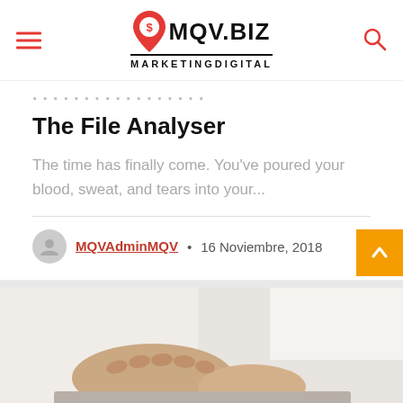[Figure (logo): MQV.BIZ Marketing Digital logo with red map pin icon, hamburger menu on left, search icon on right]
The File Analyser
The time has finally come. You've poured your blood, sweat, and tears into your...
MQVAdminMQV • 16 Noviembre, 2018
[Figure (photo): Person typing on keyboard, hands visible, white background]